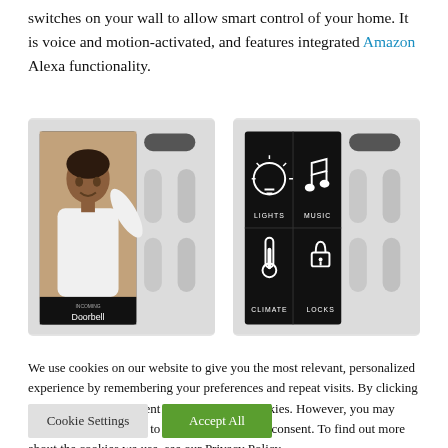switches on your wall to allow smart control of your home. It is voice and motion-activated, and features integrated Amazon Alexa functionality.
[Figure (photo): Two smart home wall panel devices side by side. Left device shows a doorbell camera screen with a person waving. Right device shows a home control interface with LIGHTS, MUSIC, CLIMATE, LOCKS icons on a black screen.]
We use cookies on our website to give you the most relevant, personalized experience by remembering your preferences and repeat visits. By clicking "Accept All" you consent to the use of the cookies. However, you may visit "Cookie Settings" to provide a controlled consent. To find out more about the cookies we use, see our Privacy Policy.
Cookie Settings | Accept All